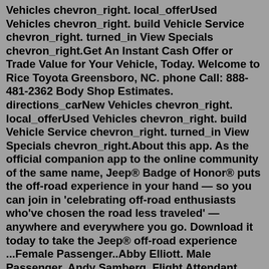Vehicles chevron_right. local_offerUsed Vehicles chevron_right. build Vehicle Service chevron_right. turned_in View Specials chevron_right.Get An Instant Cash Offer or Trade Value for Your Vehicle, Today. Welcome to Rice Toyota Greensboro, NC. phone Call: 888-481-2362 Body Shop Estimates. directions_carNew Vehicles chevron_right. local_offerUsed Vehicles chevron_right. build Vehicle Service chevron_right. turned_in View Specials chevron_right.About this app. As the official companion app to the online community of the same name, Jeep® Badge of Honor® puts the off-road experience in your hand — so you can join in 'celebrating off-road enthusiasts who've chosen the road less traveled' — anywhere and everywhere you go. Download it today to take the Jeep® off-road experience ...Female Passenger..Abby Elliott. Male Passenger..Andy Samberg. Flight Attendant #1..Kristen Wiig. Flight Attendant #2..Megan Fox. Voice of Pilot..Bill Hader. Other Passengers..Bobby Moynihan, Nasim Pedrad, Jenny Slate, John Lutz